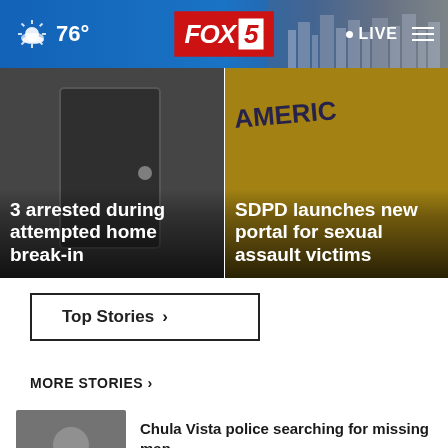76° FOX 5 LIVE
[Figure (screenshot): Hero image left: 3 arrested during attempted home break-in]
[Figure (screenshot): Hero image right: SDPD launches new portal for sexual assault victims]
Top Stories ›
MORE STORIES ›
[Figure (photo): Thumbnail of elderly person, news story about Chula Vista missing man]
Chula Vista police searching for missing man
[Figure (photo): Thumbnail of police lights blue/red, news story about Spring Valley shooting]
Victim in Spring Valley shooting identified
[Figure (photo): Thumbnail partial visible at bottom, additional story]